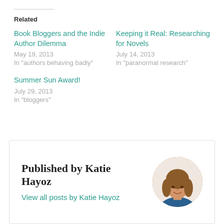Related
Book Bloggers and the Indie Author Dilemma
May 19, 2013
In "authors behaving badly"
Keeping it Real: Researching for Novels
July 14, 2013
In "paranormal research"
Summer Sun Award!
July 29, 2013
In "bloggers"
Published by Katie Hayoz
View all posts by Katie Hayoz